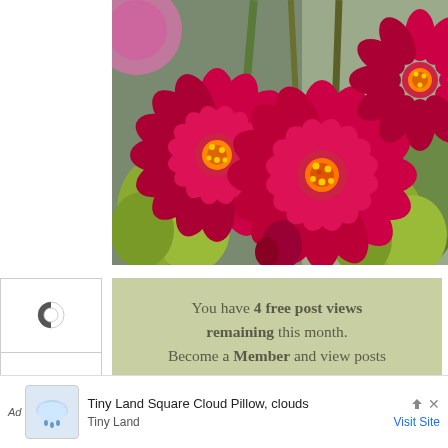[Figure (photo): Close-up photograph of vibrant red/magenta zinnia flowers with yellow centers, surrounded by light green bell-shaped flowers (bells of Ireland) and green foliage, with pink flowers visible in the background.]
You have 4 free post views remaining this month. Become a Member and view posts without restrictions.
[Figure (infographic): Advertisement bar: Tiny Land Square Cloud Pillow, clouds - Tiny Land - Visit Site]